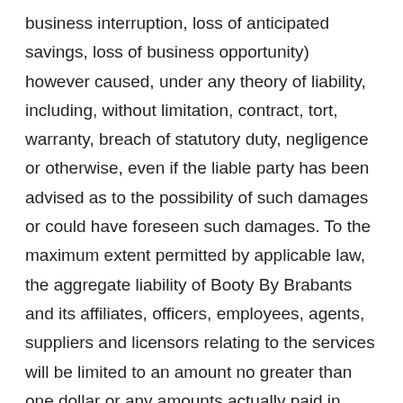business interruption, loss of anticipated savings, loss of business opportunity) however caused, under any theory of liability, including, without limitation, contract, tort, warranty, breach of statutory duty, negligence or otherwise, even if the liable party has been advised as to the possibility of such damages or could have foreseen such damages. To the maximum extent permitted by applicable law, the aggregate liability of Booty By Brabants and its affiliates, officers, employees, agents, suppliers and licensors relating to the services will be limited to an amount no greater than one dollar or any amounts actually paid in cash by you to Booty By Brabants for the prior one month period prior to the first event or occurrence giving rise to such liability. The